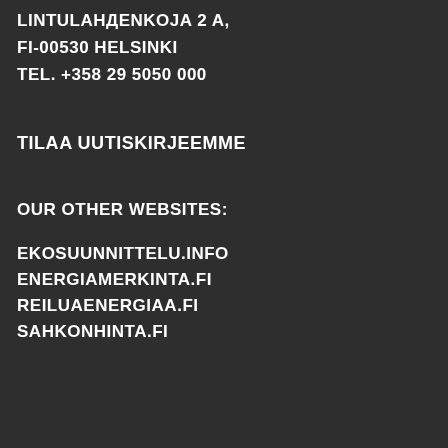LINTULAHДENKOJA 2 A,
FI-00530 HELSINKI
TEL. +358 29 5050 000
TILAA UUTISKIRJEEMME
OUR OTHER WEBSITES:
EKOSUUNNITTELU.INFO
ENERGIAMERKINTA.FI
REILUAENERGIAA.FI
SAHKONHINTA.FI